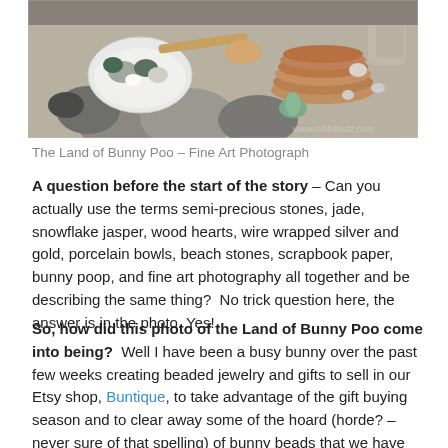[Figure (photo): A fine art photograph showing various stones, rocks, a white porcelain bowl with jade and other semi-precious stones, wood slice discs, small carved jade animals, and rough stones arranged on a light background. A watermark reads www.rabbittudz.com in the bottom right corner.]
The Land of Bunny Poo – Fine Art Photograph
A question before the start of the story – Can you actually use the terms semi-precious stones, jade, snowflake jasper, wood hearts, wire wrapped silver and gold, porcelain bowls, beach stones, scrapbook paper, bunny poop, and fine art photography all together and be describing the same thing?  No trick question here, the answer is in the photo. Yes!
So, how did this photo of the Land of Bunny Poo come into being?  Well I have been a busy bunny over the past few weeks creating beaded jewelry and gifts to sell in our Etsy shop, Buntique, to take advantage of the gift buying season and to clear away some of the hoard (horde? – never sure of that spelling) of bunny beads that we have here.  I swear they must be reproducing without my knowledge or approval in their storage drawers.